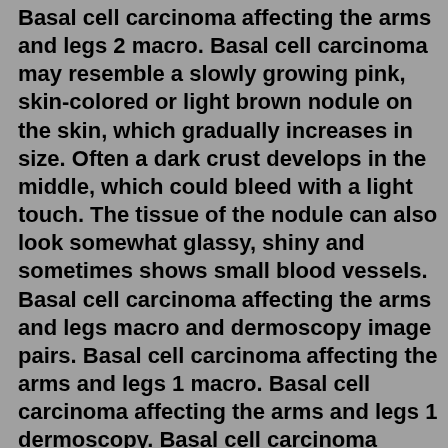Basal cell carcinoma affecting the arms and legs 2 macro. Basal cell carcinoma may resemble a slowly growing pink, skin-colored or light brown nodule on the skin, which gradually increases in size. Often a dark crust develops in the middle, which could bleed with a light touch. The tissue of the nodule can also look somewhat glassy, shiny and sometimes shows small blood vessels. Basal cell carcinoma affecting the arms and legs macro and dermoscopy image pairs. Basal cell carcinoma affecting the arms and legs 1 macro. Basal cell carcinoma affecting the arms and legs 1 dermoscopy. Basal cell carcinoma affecting the arms and legs 2 macro. Stage 4 cervical cancer is cancer that has grown into other organs or has metastasized. Stage 4 cervical cancer has grown into the bladder, rectum or distant organs . Stage 4 cervical cancer is divided into A and B. 4A: The cancer has spread to the bladder, rectum or outside of the pelvis.Basal cell carcinoma affecting the arms and legs macro and dermoscopy image pairs. Basal cell carcinoma affecting the arms and legs 1 macro. Basal